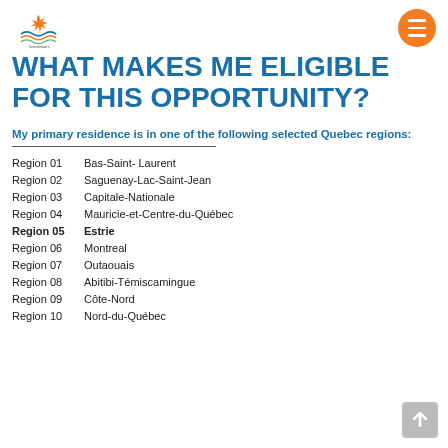Townshippers logo and menu button
WHAT MAKES ME ELIGIBLE FOR THIS OPPORTUNITY?
My primary residence is in one of the following selected Quebec regions:
Region 01   Bas-Saint- Laurent
Region 02   Saguenay-Lac-Saint-Jean
Region 03   Capitale-Nationale
Region 04   Mauricie-et-Centre-du-Québec
Region 05   Estrie
Region 06   Montreal
Region 07   Outaouais
Region 08   Abitibi-Témiscamingue
Region 09   Côte-Nord
Region 10   Nord-du-Québec